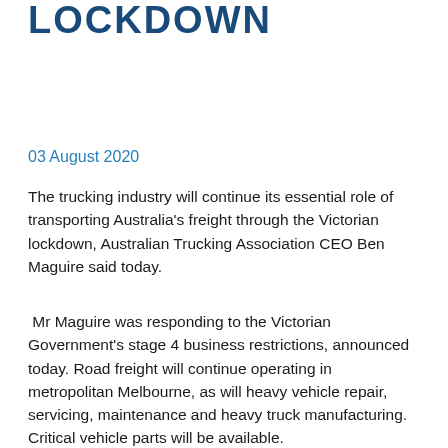LOCKDOWN
03 August 2020
The trucking industry will continue its essential role of transporting Australia's freight through the Victorian lockdown, Australian Trucking Association CEO Ben Maguire said today.
Mr Maguire was responding to the Victorian Government's stage 4 business restrictions, announced today. Road freight will continue operating in metropolitan Melbourne, as will heavy vehicle repair, servicing, maintenance and heavy truck manufacturing. Critical vehicle parts will be available.